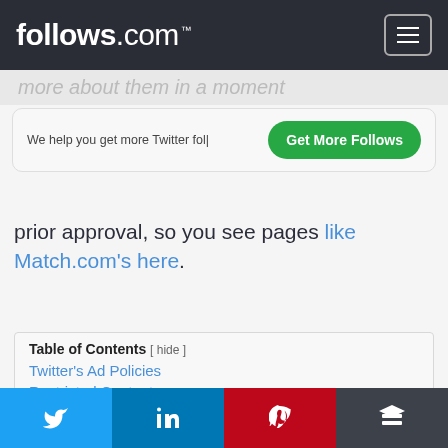follows.com™
more about them in a moment
We help you get more Twitter fol| [Get More Follows button]
prior approval, so you see pages like Match.com's here.
Table of Contents [ hide ]
Twitter's Ad Policies
Restricted Content
Twitter | LinkedIn | Pinterest | Buffer social share buttons